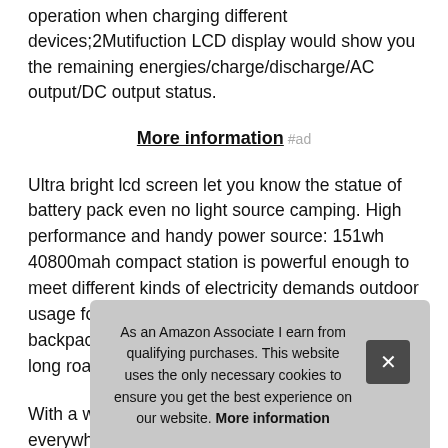operation when charging different devices;2Mutifuction LCD display would show you the remaining energies/charge/discharge/AC output/DC output status.
More information #ad
Ultra bright lcd screen let you know the statue of battery pack even no light source camping. High performance and handy power source: 151wh 40800mah compact station is powerful enough to meet different kinds of electricity demands outdoor usage for home, we can easily put it in our backpack or car, travel, camping, backseat on long road trips.
With a weight of 4. 07lb and soft handle, take to everywhere nee fans any and solar generator. flashfish power station is equipped with a
As an Amazon Associate I earn from qualifying purchases. This website uses the only necessary cookies to ensure you get the best experience on our website. More information